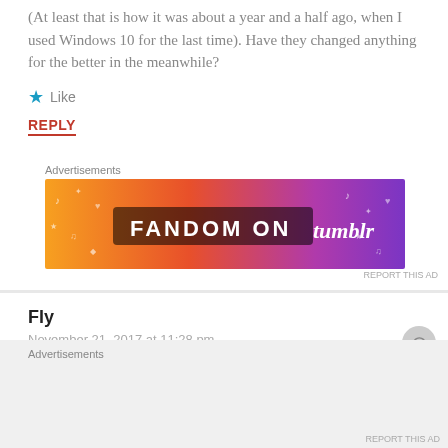(At least that is how it was about a year and a half ago, when I used Windows 10 for the last time). Have they changed anything for the better in the meanwhile?
★ Like
REPLY
Advertisements
[Figure (illustration): Fandom on Tumblr advertisement banner with orange to purple gradient background and doodle icons]
REPORT THIS AD
Fly
November 21, 2017 at 11:28 pm
Advertisements
REPORT THIS AD